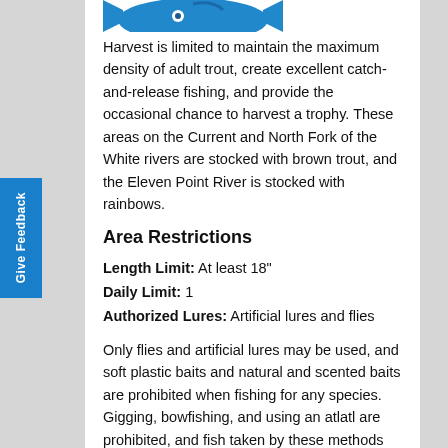[Figure (illustration): Partial fish illustration (blue trout/fish) at the top of the page, cropped at top edge]
Harvest is limited to maintain the maximum density of adult trout, create excellent catch-and-release fishing, and provide the occasional chance to harvest a trophy. These areas on the Current and North Fork of the White rivers are stocked with brown trout, and the Eleven Point River is stocked with rainbows.
Area Restrictions
Length Limit: At least 18"
Daily Limit: 1
Authorized Lures: Artificial lures and flies
Only flies and artificial lures may be used, and soft plastic baits and natural and scented baits are prohibited when fishing for any species.
Gigging, bowfishing, and using an atlatl are prohibited, and fish taken by these methods may not be possessed on